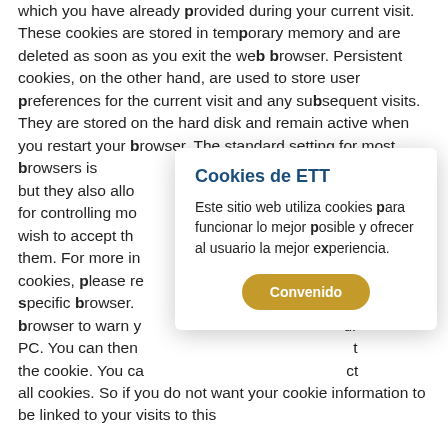which you have already provided during your current visit. These cookies are stored in temporary memory and are deleted as soon as you exit the web browser. Persistent cookies, on the other hand, are used to store user preferences for the current visit and any subsequent visits. They are stored on the hard disk and remain active when you restart your browser. The standard setting for most browsers is [obscured] but they also allow [obscured] for controlling mo[obscured] you wish to accept th[obscured] them. For more in[obscured] cookies, please re[obscured] ur specific browser. [obscured] browser to warn y[obscured] ur PC. You can then [obscured] t the cookie. You ca[obscured] ct all cookies. So if you do not want your cookie information to be linked to your visits to this
[Figure (screenshot): A modal dialog box overlaying the background text. Title: 'Cookies de ETT' in bold dark blue. Body text in Spanish: 'Este sitio web utiliza cookies para funcionar lo mejor posible y ofrecer al usuario la mejor experiencia.' A golden/amber rounded button labeled 'Convenido'.]